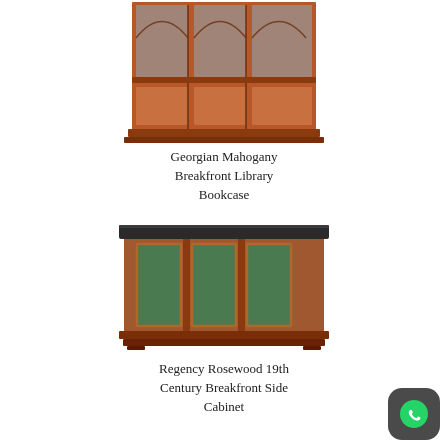[Figure (photo): Georgian Mahogany Breakfront Library Bookcase — tall wooden bookcase with arched leaded glass upper doors and solid lower cabinet doors, in mahogany finish]
Georgian Mahogany Breakfront Library Bookcase
[Figure (photo): Regency Rosewood 19th Century Breakfront Side Cabinet — wide low cabinet with green fabric panel doors and dark marble top, in rosewood finish]
Regency Rosewood 19th Century Breakfront Side Cabinet